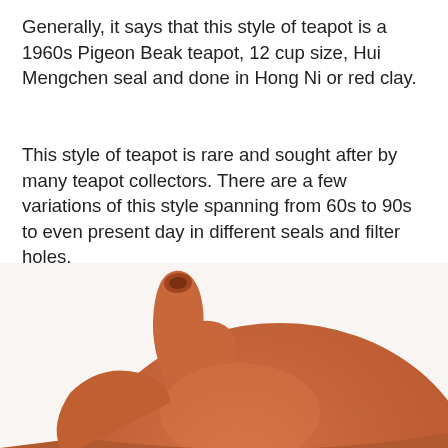Generally, it says that this style of teapot is a 1960s Pigeon Beak teapot, 12 cup size, Hui Mengchen seal and done in Hong Ni or red clay.
This style of teapot is rare and sought after by many teapot collectors. There are a few variations of this style spanning from 60s to 90s to even present day in different seals and filter holes.
A red clay pigeon beak style teapot with 18 filter holes is the earlier variation done in the 1960s. The puffed lid cover is also an indication of the teapot of that era.
[Figure (photo): Close-up photograph of a red clay (Hong Ni) teapot spout and body, showing the pigeon beak style spout emerging from the rounded body of the teapot. The clay is a warm terracotta/reddish-brown color.]